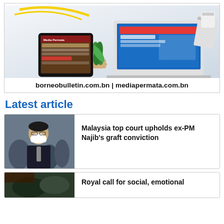[Figure (screenshot): Advertisement showing tablet and laptop displaying Borneo Bulletin and Media Permata websites, with text 'borneobulletin.com.bn | mediapermata.com.bn']
Latest article
[Figure (photo): Photo of a man wearing a white face mask and dark suit]
Malaysia top court upholds ex-PM Najib's graft conviction
[Figure (photo): Partial photo, partially visible at bottom of page]
Royal call for social, emotional